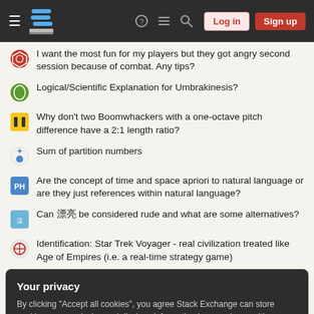Stack Exchange navigation bar with hamburger menu, logo, help, chat, search icons, Log in and Sign up buttons
I want the most fun for my players but they got angry second session because of combat. Any tips?
Logical/Scientific Explanation for Umbrakinesis?
Why don't two Boomwhackers with a one-octave pitch difference have a 2:1 length ratio?
Sum of partition numbers
Are the concept of time and space apriori to natural language or are they just references within natural language?
Can 漂亮 be considered rude and what are some alternatives?
Identification: Star Trek Voyager - real civilization treated like Age of Empires (i.e. a real-time strategy game)
Your privacy
By clicking "Accept all cookies", you agree Stack Exchange can store cookies on your device and disclose information in accordance with our Cookie Policy.
Accept all cookies   Customize settings
What does "Have you been thinking?" really mean?